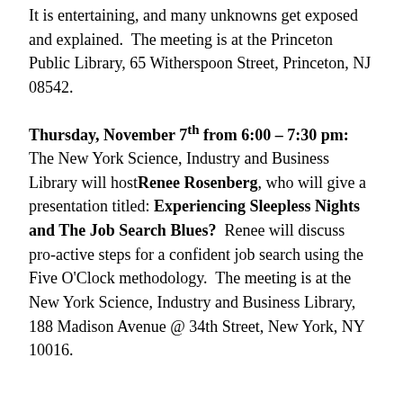It is entertaining, and many unknowns get exposed and explained.  The meeting is at the Princeton Public Library, 65 Witherspoon Street, Princeton, NJ 08542.
Thursday, November 7th from 6:00 – 7:30 pm: The New York Science, Industry and Business Library will host Renee Rosenberg, who will give a presentation titled: Experiencing Sleepless Nights and The Job Search Blues?  Renee will discuss pro-active steps for a confident job search using the Five O'Clock methodology.  The meeting is at the New York Science, Industry and Business Library, 188 Madison Avenue @ 34th Street, New York, NY 10016.
Thursday, November 7th from 7:00 – 9:00 pm: Lives in Transition (LIT) will host Brian Tietje, National Speaker and Strategic Account...